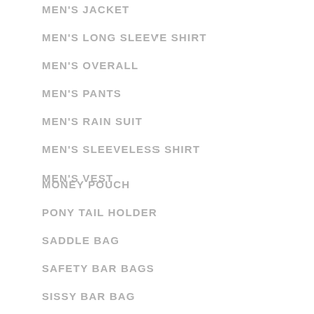MEN'S JACKET
MEN'S LONG SLEEVE SHIRT
MEN'S OVERALL
MEN'S PANTS
MEN'S RAIN SUIT
MEN'S SLEEVELESS SHIRT
MEN'S VEST
[Figure (other): Loading spinner animation indicator centered on the page]
MONEY POUCH
PONY TAIL HOLDER
SADDLE BAG
SAFETY BAR BAGS
SISSY BAR BAG
TOOL BAG